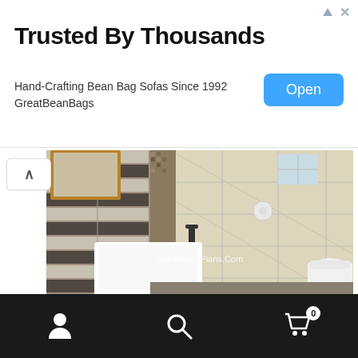[Figure (screenshot): Advertisement banner: 'Trusted By Thousands' - Hand-Crafting Bean Bag Sofas Since 1992, GreatBeanBags, with blue Open button]
[Figure (photo): Bathroom interior render showing white sink, toilet, mosaic tile wall, and large beige wall tiles with watermark SamHousePlans.Com]
[Figure (photo): Partial view of a bedroom/room render showing windows with green landscape view and a wooden bed frame]
User icon | Search icon | Cart icon with badge 0